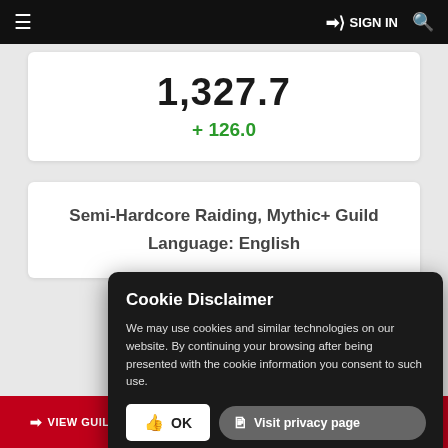≡  SIGN IN  🔍
1,327.7
+ 126.0
Semi-Hardcore Raiding, Mythic+ Guild
Language: English
Cookie Disclaimer
We may use cookies and similar technologies on our website. By continuing your browsing after being presented with the cookie information you consent to such use.
👍 OK    📋 Visit privacy page
➡ VIEW GUILD   👤+ APPLY   ☆ FOLLOW